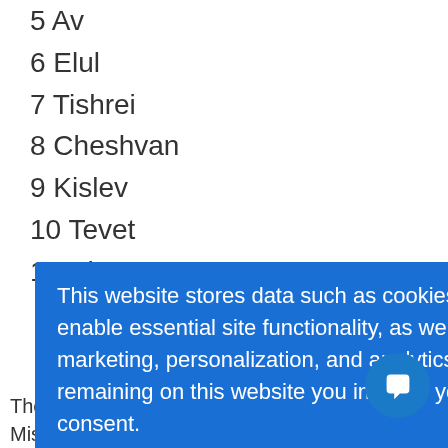5 Av
6 Elul
7 Tishrei
8 Cheshvan
9 Kislev
10 Tevet
11 Shevat
(I or II)
of the Temple
d of Israel,
ng Solomon,
The Midrash discusses the Inauguration of the Mishkan
[Figure (screenshot): Blue cookie consent banner overlay reading: 'This website stores data such as cookies to enable essential site functionality, as well as marketing, personalization, and analytics. By remaining on this website you indicate your consent.' with a Privacy Policy link. A teal chat button with a message icon is visible at bottom right.]